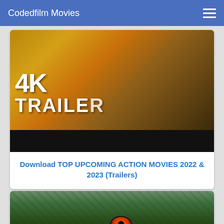Codedfilm Movies
[Figure (screenshot): Movie poster thumbnail showing action movie characters with '4K TRAILER' text overlay, followed by a black bar]
Download TOP UPCOMING ACTION MOVIES 2022 & 2023 (Trailers)
[Figure (photo): Close-up image of a dragon's eye and scales, green and orange tones]